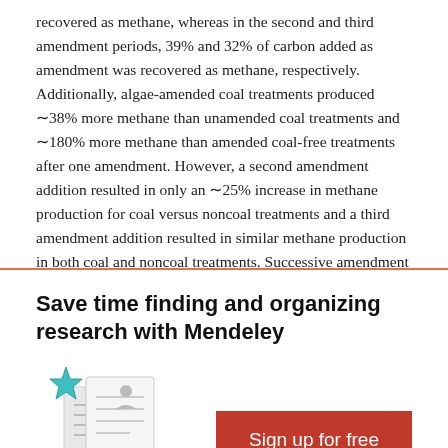recovered as methane, whereas in the second and third amendment periods, 39% and 32% of carbon added as amendment was recovered as methane, respectively. Additionally, algae-amended coal treatments produced ~38% more methane than unamended coal treatments and ~180% more methane than amended coal-free treatments after one amendment. However, a second amendment addition resulted in only an ~25% increase in methane production for coal versus noncoal treatments and a third amendment addition resulted in similar methane production in both coal and noncoal treatments. Successive amendment additions appeared to result in a shift from coal-to-methane conversion to amendment-to-methane conversion. The reported results
[Figure (illustration): Mendeley advertisement banner with close button (×), bold headline 'Save time finding and organizing research with Mendeley', a teal star icon with paper/document illustrations, and a red 'Sign up for free' button.]